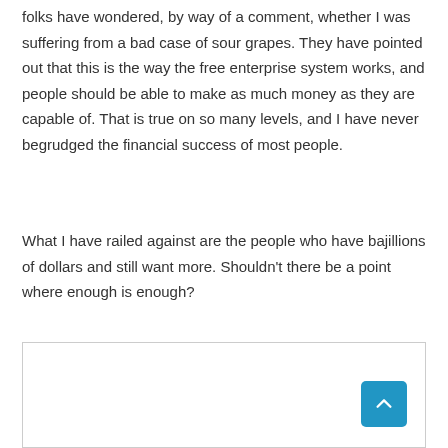folks have wondered, by way of a comment, whether I was suffering from a bad case of sour grapes. They have pointed out that this is the way the free enterprise system works, and people should be able to make as much money as they are capable of. That is true on so many levels, and I have never begrudged the financial success of most people.
What I have railed against are the people who have bajillions of dollars and still want more. Shouldn't there be a point where enough is enough?
[Figure (other): A blank white box with a blue scroll-to-top button in the bottom-right corner featuring an upward chevron arrow.]